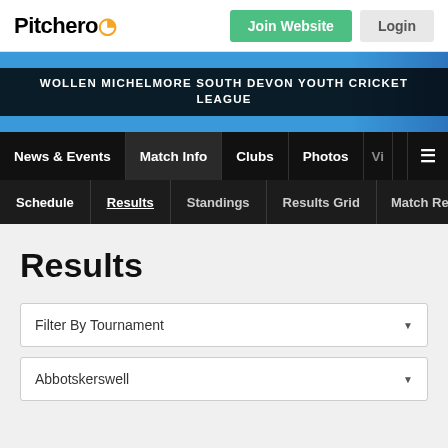Pitchero | Join Website | Login
WOLLEN MICHELMORE SOUTH DEVON YOUTH CRICKET LEAGUE
News & Events | Match Info | Clubs | Photos | V | ☰
Schedule | Results | Standings | Results Grid | Match Rep
Results
Filter By Tournament
Abbotskerswell